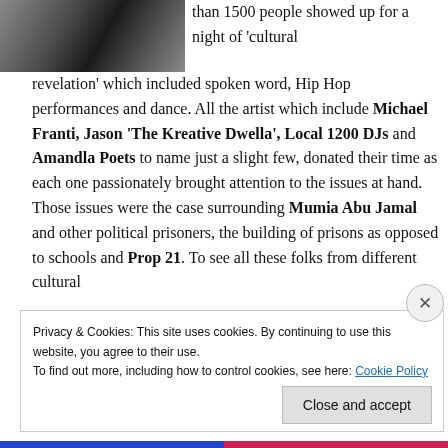[Figure (photo): Partial photograph of people at an event, cropped at top-left]
than 1500 people showed up for a night of 'cultural revelation' which included spoken word, Hip Hop performances and dance. All the artist which include Michael Franti, Jason 'The Kreative Dwella', Local 1200 DJs and Amandla Poets to name just a slight few, donated their time as each one passionately brought attention to the issues at hand. Those issues were the case surrounding Mumia Abu Jamal and other political prisoners, the building of prisons as opposed to schools and Prop 21. To see all these folks from different cultural
Privacy & Cookies: This site uses cookies. By continuing to use this website, you agree to their use.
To find out more, including how to control cookies, see here: Cookie Policy
Close and accept